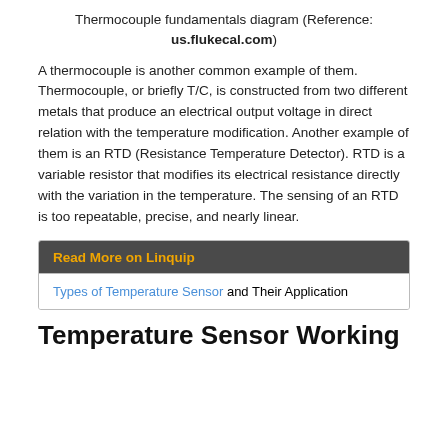Thermocouple fundamentals diagram (Reference: us.flukecal.com)
A thermocouple is another common example of them. Thermocouple, or briefly T/C, is constructed from two different metals that produce an electrical output voltage in direct relation with the temperature modification. Another example of them is an RTD (Resistance Temperature Detector). RTD is a variable resistor that modifies its electrical resistance directly with the variation in the temperature. The sensing of an RTD is too repeatable, precise, and nearly linear.
Read More on Linquip
Types of Temperature Sensor and Their Application
Temperature Sensor Working